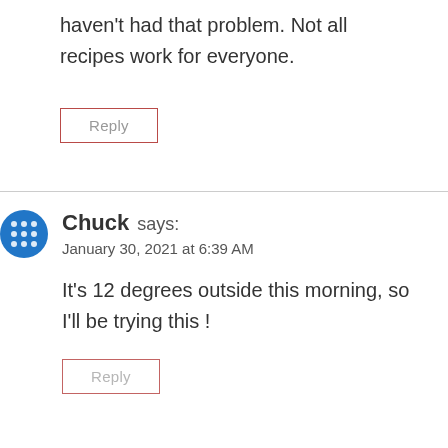haven't had that problem. Not all recipes work for everyone.
Reply
Chuck says:
January 30, 2021 at 6:39 AM
It's 12 degrees outside this morning, so I'll be trying this !
Reply